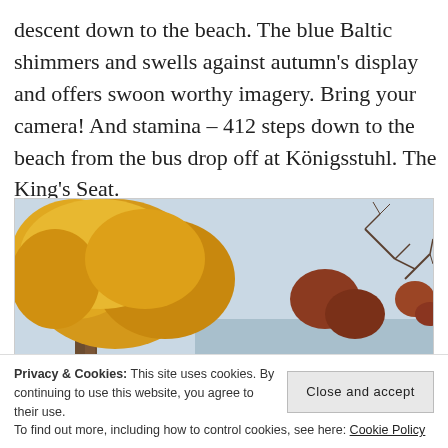descent down to the beach. The blue Baltic shimmers and swells against autumn's display and offers swoon worthy imagery. Bring your camera! And stamina – 412 steps down to the beach from the bus drop off at Königsstuhl. The King's Seat.
[Figure (photo): Autumn tree with golden-yellow foliage against a pale blue sky, with bare branches and some reddish-brown leaves visible, suggesting a coastal scene at Königsstuhl near the Baltic Sea.]
Privacy & Cookies: This site uses cookies. By continuing to use this website, you agree to their use.
To find out more, including how to control cookies, see here: Cookie Policy
Close and accept